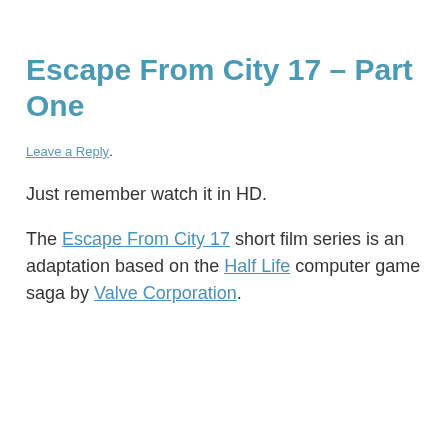Escape From City 17 – Part One
Leave a Reply.
Just remember watch it in HD.
The Escape From City 17 short film series is an adaptation based on the Half Life computer game saga by Valve Corporation.